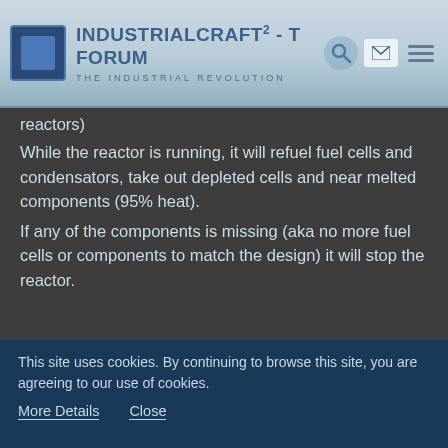IndustrialCraft² - Top Forum — The Industrial Revolution
reactors)
While the reactor is running, it will refuel fuel cells and condensators, take out depleted cells and near melted components (95% heat).
If any of the components is missing (aka no more fuel cells or components to match the design) it will stop the reactor.
Shedar
IC²-Tester
Sep 16th 2013   Official Post
This site uses cookies. By continuing to browse this site, you are agreeing to our use of cookies.
More Details   Close